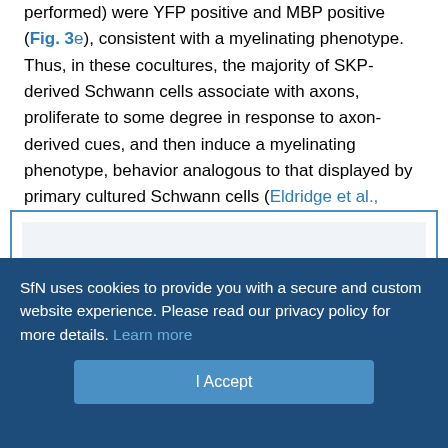performed) were YFP positive and MBP positive (Fig. 3e), consistent with a myelinating phenotype. Thus, in these cocultures, the majority of SKP-derived Schwann cells associate with axons, proliferate to some degree in response to axon-derived cues, and then induce a myelinating phenotype, behavior analogous to that displayed by primary cultured Schwann cells (Eldridge et al., 1987; Cheng et al., 1999).
[Figure (photo): Image region showing a figure panel (obscured/blank in screenshot)]
SfN uses cookies to provide you with a secure and custom website experience. Please read our privacy policy for more details. Learn more